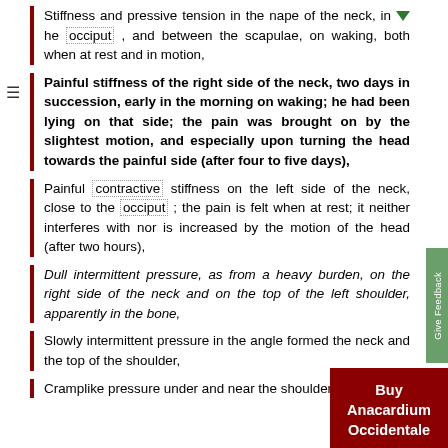Stiffness and pressive tension in the nape of the neck, in the occiput, and between the scapulae, on waking, both when at rest and in motion,
Painful stiffness of the right side of the neck, two days in succession, early in the morning on waking; he had been lying on that side; the pain was brought on by the slightest motion, and especially upon turning the head towards the painful side (after four to five days),
Painful contractive stiffness on the left side of the neck, close to the occiput; the pain is felt when at rest; it neither interferes with nor is increased by the motion of the head (after two hours),
Dull intermittent pressure, as from a heavy burden, on the right side of the neck and on the top of the left shoulder, apparently in the bone,
Slowly intermittent pressure in the angle formed the neck and the top of the shoulder,
Cramplike pressure under and near the shoulder blades